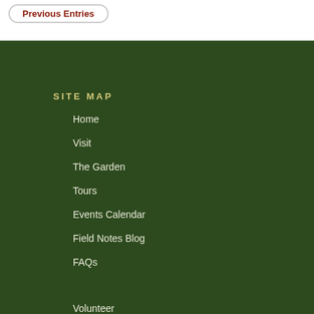Previous Entries
SITE MAP
Home
Visit
The Garden
Tours
Events Calendar
Field Notes Blog
FAQs
Volunteer
Photo Galleries